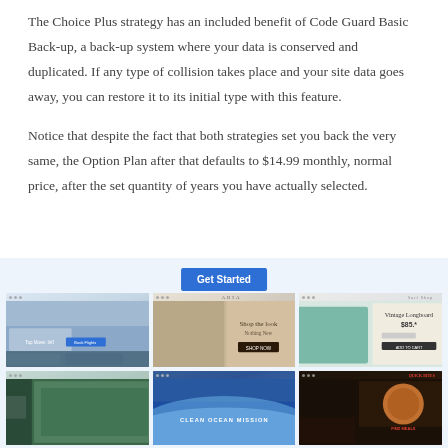The Choice Plus strategy has an included benefit of Code Guard Basic Back-up, a back-up system where your data is conserved and duplicated. If any type of collision takes place and your site data goes away, you can restore it to its initial type with this feature.
Notice that despite the fact that both strategies set you back the very same, the Option Plan after that defaults to $14.99 monthly, normal price, after the set quantity of years you have actually selected.
[Figure (screenshot): Website template gallery showing 6 website screenshots in a 3x2 grid with a blue 'Get Started' button at the top center, on a light blue background. Screenshots include travel, fashion, surf shop, nature, ocean, and restaurant themed websites.]